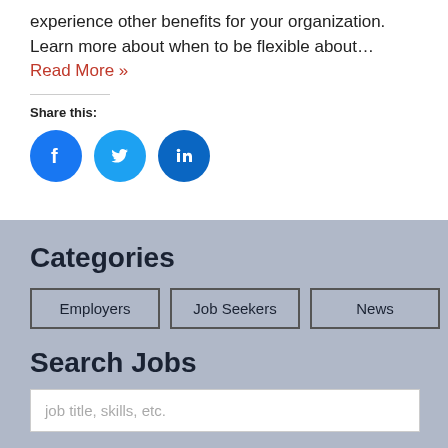experience other benefits for your organization. Learn more about when to be flexible about… Read More »
Share this:
[Figure (illustration): Three circular social media icon buttons: Facebook (blue), Twitter (light blue), LinkedIn (dark blue)]
Categories
Employers
Job Seekers
News
Search Jobs
job title, skills, etc.